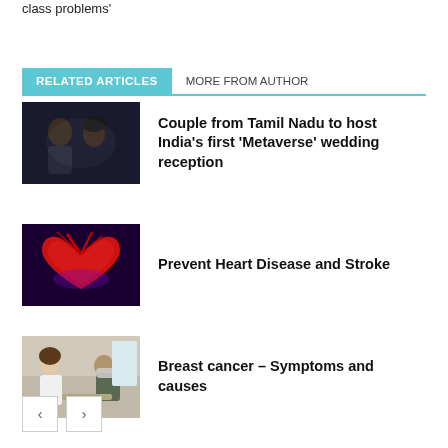class problems'
RELATED ARTICLES   MORE FROM AUTHOR
[Figure (photo): Portrait photo of a man and woman couple, dark background]
Couple from Tamil Nadu to host India's first 'Metaverse' wedding reception
[Figure (illustration): 3D illustration of a human heart in red against dark background]
Prevent Heart Disease and Stroke
[Figure (photo): Doctor consulting a masked patient in a medical setting]
Breast cancer – Symptoms and causes